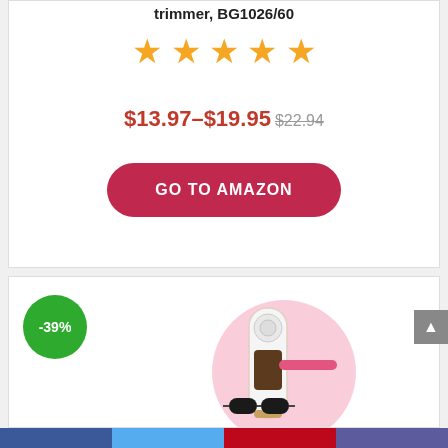trimmer, BG1026/60
[Figure (infographic): Five orange star rating icons]
$13.97–$19.95 $22.94
[Figure (infographic): GO TO AMAZON button in crimson red with rounded corners]
[Figure (photo): IPL hair removal device in white and pink with goggles and a comb attachment, shown against a pink circular background. Green badge showing -39% discount.]
Hair Removal for Women and Man IPL hair removal UPGRADE to 999,999 Permanent